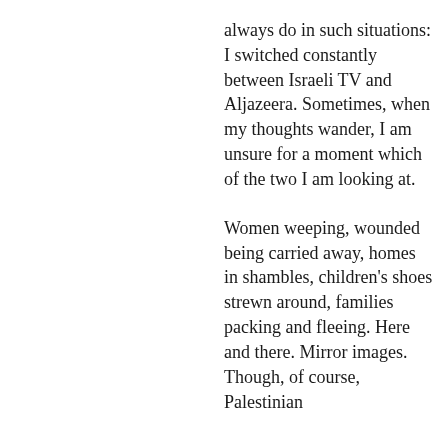always do in such situations: I switched constantly between Israeli TV and Aljazeera. Sometimes, when my thoughts wander, I am unsure for a moment which of the two I am looking at.
Women weeping, wounded being carried away, homes in shambles, children's shoes strewn around, families packing and fleeing. Here and there. Mirror images. Though, of course, Palestinian